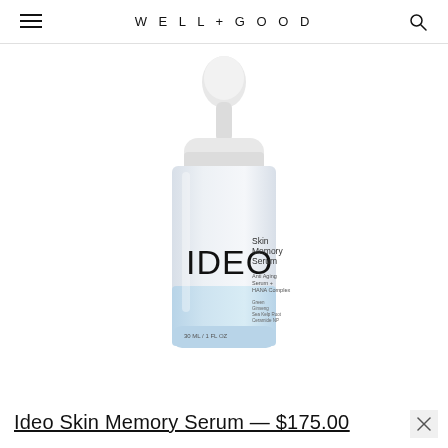WELL+GOOD
[Figure (photo): IDEO Skin Memory Serum product photo — a frosted glass dropper bottle with white dropper top. The bottle label reads 'IDEO' in large black letters and 'Skin Memory Serum' in smaller text on the right, with additional smaller label text including 'Anti Aging Serum + HANA Complex' and '30 ML / 1 FL OZ'. The bottom portion of the bottle is light blue.]
Ideo Skin Memory Serum — $175.00